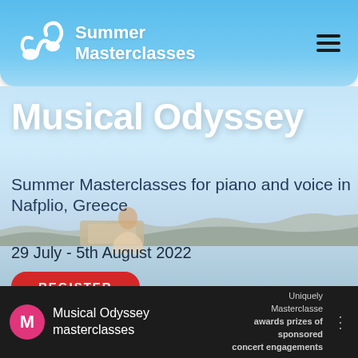Summer Masterclasses
Musical Odyssey
Summer Masterclasses for piano and voice in Nafplio, Greece
29 July - 5th August 2022
REGISTER
Musical Odyssey masterclasses
Uniquely Masterclasses awards prizes of sponsored concert engagements